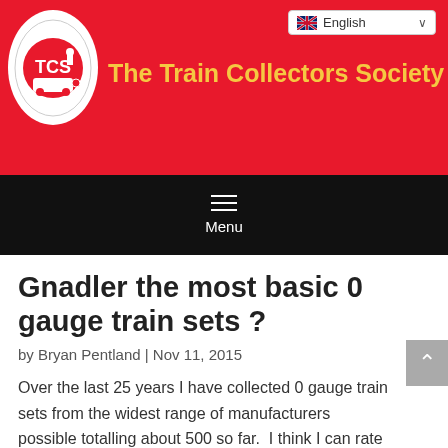The Train Collectors Society
[Figure (logo): TCS logo oval with train illustration]
Menu
Gnadler the most basic 0 gauge train sets ?
by Bryan Pentland | Nov 11, 2015
Over the last 25 years I have collected 0 gauge train sets from the widest range of manufacturers possible totalling about 500 so far.  I think I can rate Gnadler as the manufacturer of a range of the